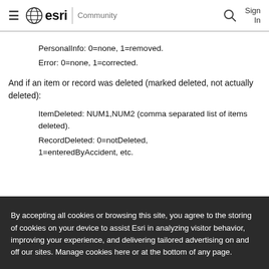esri Community
PersonalInfo: 0=none, 1=removed.
Error: 0=none, 1=corrected.
And if an item or record was deleted (marked deleted, not actually deleted):
ItemDeleted: NUM1,NUM2 (comma separated list of items deleted).
RecordDeleted: 0=notDeleted, 1=enteredByAccident, etc.
By accepting all cookies or browsing this site, you agree to the storing of cookies on your device to assist Esri in analyzing visitor behavior, improving your experience, and delivering tailored advertising on and off our sites. Manage cookies here or at the bottom of any page.